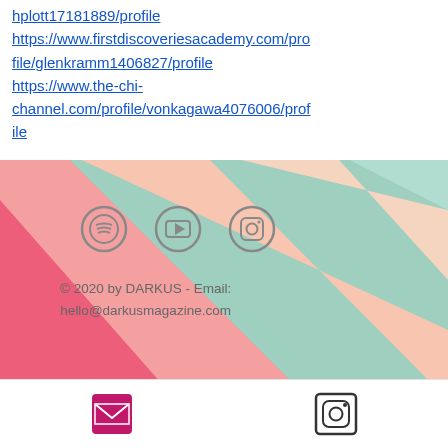hplott17181889/profile https://www.firstdiscoveriesacademy.com/profile/glenkramm1406827/profile https://www.the-chi-channel.com/profile/vonkagawa4076006/profile
[Figure (illustration): Diagonal rainbow stripe banner in pink, light pink, peach, and mint/teal colors serving as website footer background]
© 2020 by DARKUS -  Email: hello@darkusmagazine.com
Email icon and Instagram icon